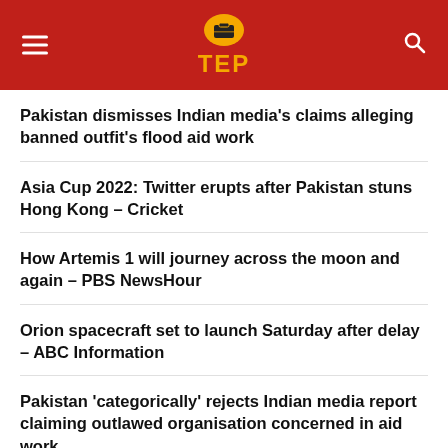TEP logo navigation header
Pakistan dismisses Indian media’s claims alleging banned outfit’s flood aid work
Asia Cup 2022: Twitter erupts after Pakistan stuns Hong Kong – Cricket
How Artemis 1 will journey across the moon and again – PBS NewsHour
Orion spacecraft set to launch Saturday after delay – ABC Information
Pakistan ‘categorically’ rejects Indian media report claiming outlawed organisation concerned in aid work